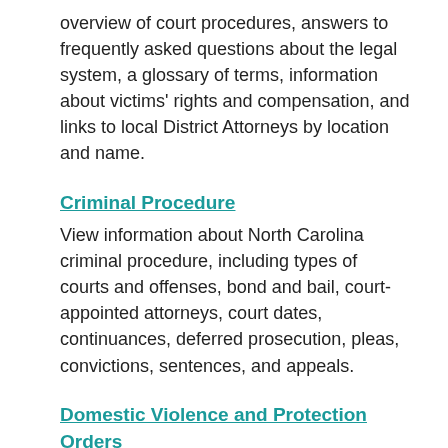overview of court procedures, answers to frequently asked questions about the legal system, a glossary of terms, information about victims' rights and compensation, and links to local District Attorneys by location and name.
Criminal Procedure
View information about North Carolina criminal procedure, including types of courts and offenses, bond and bail, court-appointed attorneys, court dates, continuances, deferred prosecution, pleas, convictions, sentences, and appeals.
Domestic Violence and Protection Orders
View information about rights of domestic violence victims, address confidentiality, and victims' compensation. View information about Domestic Violence Protection Orders, including how to obtain an order; domestic violence court procedure; legal